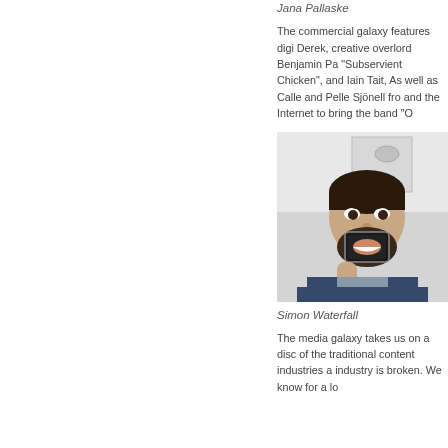Jana Pallaske
The commercial galaxy features digi Derek, creative overlord Benjamin Pa "Subservient Chicken", and Iain Tait, As well as Calle and Pelle Sjönell fro and the Internet to bring the band "O
[Figure (photo): Portrait photo of Simon Waterfall holding a phone showing a smiling mouth in front of his face, on an airplane]
Simon Waterfall
The media galaxy takes us on a disc of the traditional content industries a industry is broken. We know for a lo